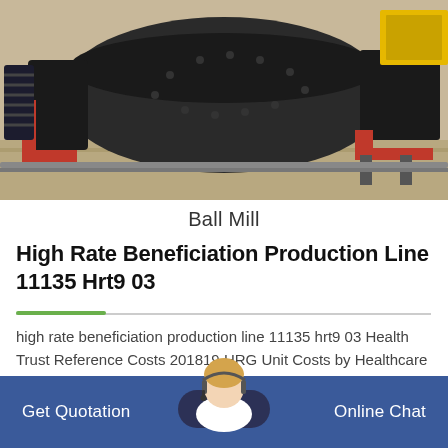[Figure (photo): Industrial ball mill machine on a factory floor. A large black cylindrical drum with red metal frame and gear components visible on the left side.]
Ball Mill
High Rate Beneficiation Production Line 11135 Hrt9 03
high rate beneficiation production line 11135 hrt9 03 Health Trust Reference Costs 201819 HRG Unit Costs by Healthcare Resource Group unit costs for acute hospital procedures broken-down by hospital si…